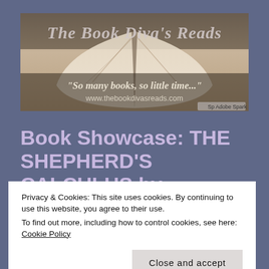[Figure (illustration): Blog header banner for 'The Book Diva's Reads' showing an open book with pages folded into a heart shape, with italic white text reading 'The Book Diva's Reads', italic text '"So many books, so little time..."', and website URL 'www.thebookdivasreads.com'. Adobe Spark watermark in bottom right.]
Book Showcase: THE SHEPHERD'S CALCULUS by
Privacy & Cookies: This site uses cookies. By continuing to use this website, you agree to their use.
To find out more, including how to control cookies, see here: Cookie Policy
Close and accept
The Shepherd's Calculus